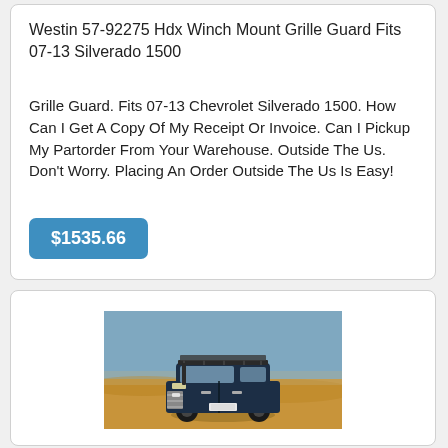Westin 57-92275 Hdx Winch Mount Grille Guard Fits 07-13 Silverado 1500
Grille Guard. Fits 07-13 Chevrolet Silverado 1500. How Can I Get A Copy Of My Receipt Or Invoice. Can I Pickup My Partorder From Your Warehouse. Outside The Us. Don't Worry. Placing An Order Outside The Us Is Easy!
$1535.66
[Figure (photo): A dark blue SUV/4x4 vehicle with a bull bar and roof rack, driving on orange desert sand with a blue sky background.]